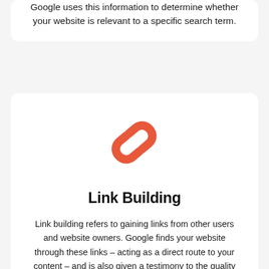Google uses this information to determine whether your website is relevant to a specific search term.
[Figure (illustration): Orange chain link icon representing link building]
Link Building
Link building refers to gaining links from other users and website owners. Google finds your website through these links – acting as a direct route to your content – and is also given a testimony to the quality of your site, from others which approve.